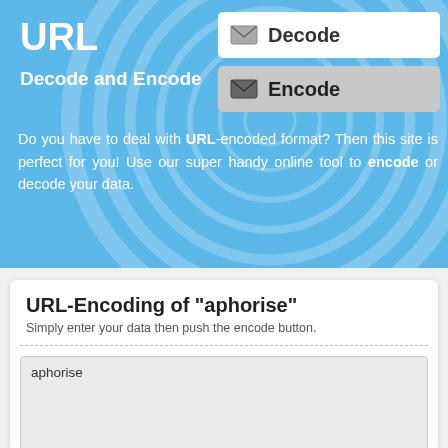URL
Decode and Encode
[Figure (other): Decode button with envelope icon, white background]
[Figure (other): Encode button with envelope icon, gray background]
Do you have to deal with URL-encoded format? Then this site is perfect for you! Use our super handy online tool to encode or decode your data.
URL-Encoding of "aphorise"
Simply enter your data then push the encode button.
aphorise